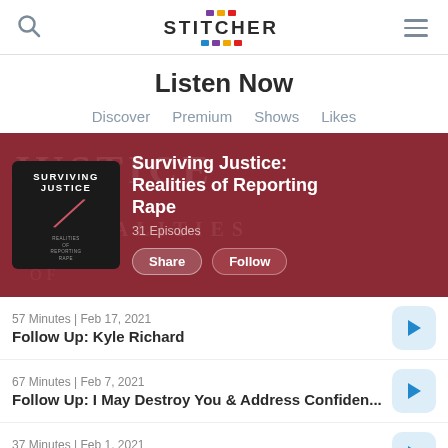Stitcher — Listen Now
Listen Now
Discover
Premium
Shows
Likes
[Figure (screenshot): Surviving Justice: Realities of Reporting Rape podcast banner with album art, 31 Episodes, Share and Follow buttons on dark red background]
57 Minutes | Feb 17, 2021
Follow Up: Kyle Richard
67 Minutes | Feb 7, 2021
Follow Up: I May Destroy You & Address Confiden...
37 Minutes | Feb 1, 2021
Follow Up: Restorative Justice
38 Minutes | Jan 26, 2021